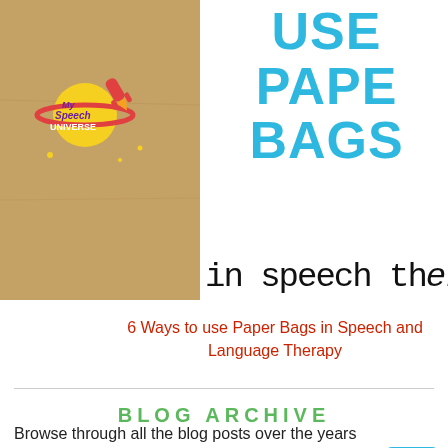[Figure (photo): Brown paper bag with 'My Speech Universe' logo overlay (yellow planet, red rocket, stars)]
WAYS TO USE PAPER BAGS
in speech ther
6 Ways to use Paper Bags in Speech and Language Therapy
BLOG ARCHIVE
Browse through all the blog posts over the years
[Figure (other): View All button (red rounded rectangle)]
[Figure (other): Scroll to top button (blue square with upward chevron)]